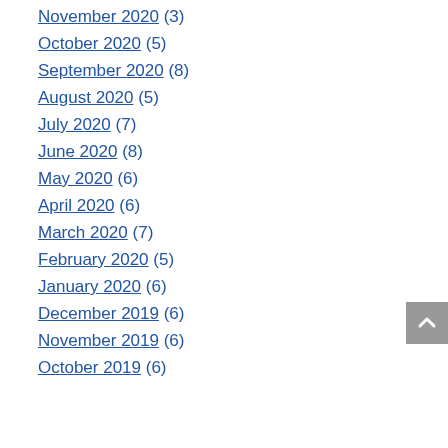November 2020 (3)
October 2020 (5)
September 2020 (8)
August 2020 (5)
July 2020 (7)
June 2020 (8)
May 2020 (6)
April 2020 (6)
March 2020 (7)
February 2020 (5)
January 2020 (6)
December 2019 (6)
November 2019 (6)
October 2019 (6)